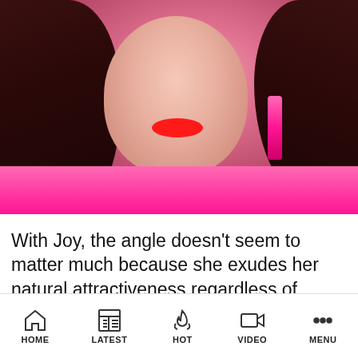[Figure (photo): Close-up portrait of a young East Asian woman (Joy) with long dark hair, red-orange eye makeup, bright red lips, pink earrings, layered silver necklaces, and a hot pink outfit against a pink background.]
With Joy, the angle doesn't seem to matter much because she exudes her natural attractiveness regardless of where the photo is
HOME   LATEST   HOT   VIDEO   MENU